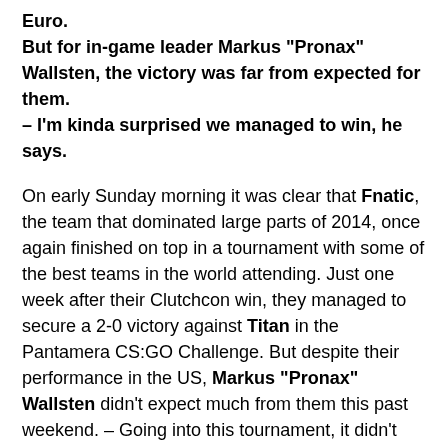Euro. But for in-game leader Markus "Pronax" Wallsten, the victory was far from expected for them. – I'm kinda surprised we managed to win, he says.
On early Sunday morning it was clear that Fnatic, the team that dominated large parts of 2014, once again finished on top in a tournament with some of the best teams in the world attending. Just one week after their Clutchcon win, they managed to secure a 2-0 victory against Titan in the Pantamera CS:GO Challenge. But despite their performance in the US, Markus "Pronax" Wallsten didn't expect much from them this past weekend. – Going into this tournament, it didn't feel like we were in very good shape. I'm kinda surprised we managed to win. But at the same time it felt like we started finding our way back to our playing style as the tournament progressed, he says.
"We didn't work out anything new"